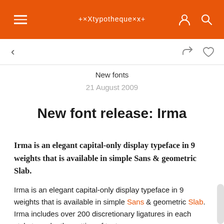+×Xtypotheque×x+
New fonts
21 August 2009
New font release: Irma
Irma is an elegant capital-only display typeface in 9 weights that is available in simple Sans & geometric Slab.
Irma is an elegant capital-only display typeface in 9 weights that is available in simple Sans & geometric Slab. Irma includes over 200 discretionary ligatures in each style to make the setting of text even more